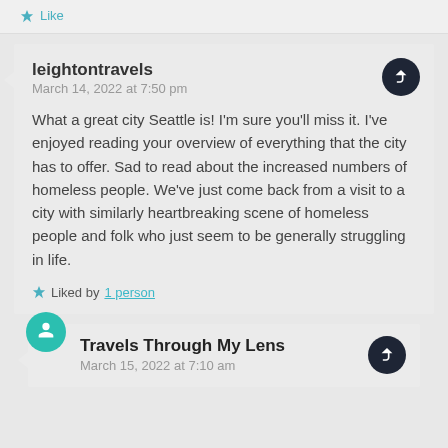Like
leightontravels
March 14, 2022 at 7:50 pm
What a great city Seattle is! I'm sure you'll miss it. I've enjoyed reading your overview of everything that the city has to offer. Sad to read about the increased numbers of homeless people. We've just come back from a visit to a city with similarly heartbreaking scene of homeless people and folk who just seem to be generally struggling in life.
Liked by 1 person
Travels Through My Lens
March 15, 2022 at 7:10 am